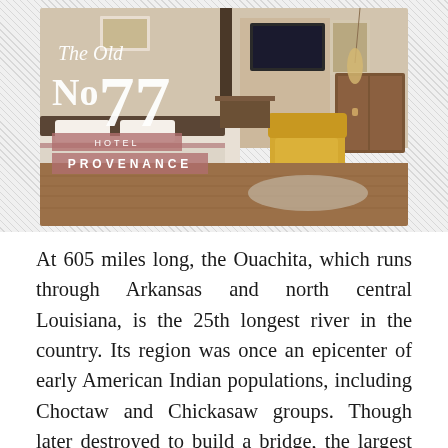[Figure (photo): Hotel room interior photo with The Old No. 77 Hotel Provenance logo overlaid on the left side. The room features a bed, yellow armchair, wooden furniture, and hardwood floors. The logo shows cursive 'The Old' text above large 'No77' numerals, with 'HOTEL PROVENANCE' in a pink/mauve banner below.]
At 605 miles long, the Ouachita, which runs through Arkansas and north central Louisiana, is the 25th longest river in the country. Its region was once an epicenter of early American Indian populations, including Choctaw and Chickasaw groups. Though later destroyed to build a bridge, the largest Indian mounds ever discovered in North America